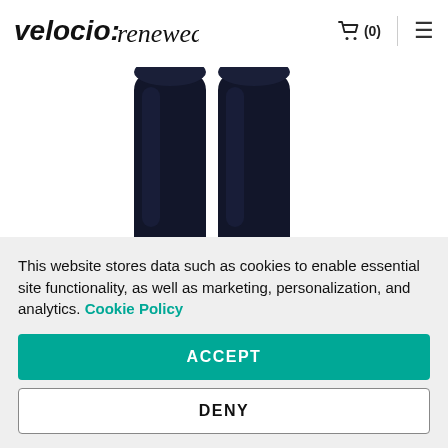velocio:renewed | (0)
[Figure (photo): Two dark navy cycling leg warmers/knee warmers shown from behind on a white background]
[Figure (photo): Three product thumbnail images: two showing letter M on white background (first selected with border), third showing a dark navy product]
This website stores data such as cookies to enable essential site functionality, as well as marketing, personalization, and analytics. Cookie Policy
ACCEPT
DENY